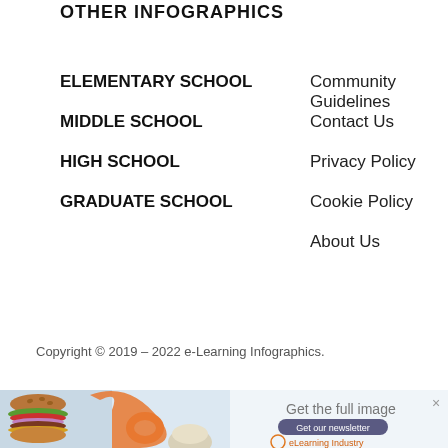OTHER INFOGRAPHICS
ELEMENTARY SCHOOL
MIDDLE SCHOOL
HIGH SCHOOL
GRADUATE SCHOOL
Community Guidelines
Contact Us
Privacy Policy
Cookie Policy
About Us
Copyright © 2019 – 2022 e-Learning Infographics.
[Figure (infographic): Advertisement banner with burger image, orange pretzel-like shape, rolled newspaper, text 'Get the full image', 'Get our newsletter' button, and eLearning Industry logo.]